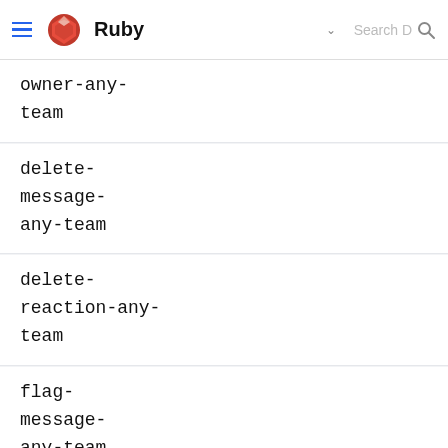Ruby
owner-any-team
delete-message-any-team
delete-reaction-any-team
flag-message-any-team
join-call-any-team